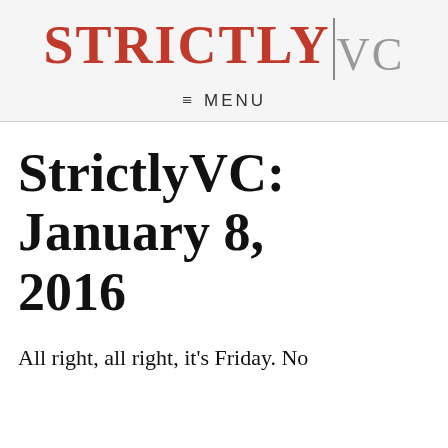STRICTLY|VC
≡ MENU
StrictlyVC: January 8, 2016
All right, all right, it's Friday. No